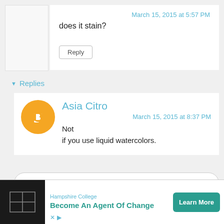March 15, 2015 at 5:57 PM
does it stain?
Reply
Replies
Asia Citro
March 15, 2015 at 8:37 PM
Not if you use liquid watercolors.
Reply
Hampshire College
Become An Agent Of Change
Learn More